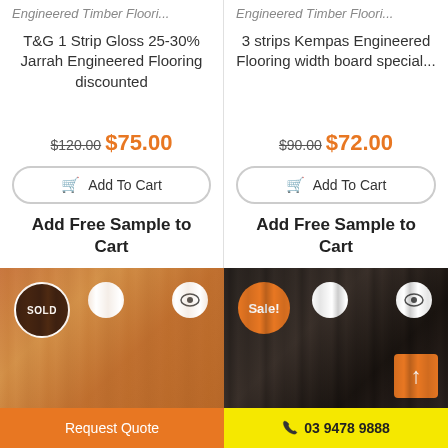Engineered Timber Floori...
T&G 1 Strip Gloss 25-30% Jarrah Engineered Flooring discounted
$120.00 $75.00
Add To Cart
Add Free Sample to Cart
Engineered Timber Floori...
3 strips Kempas Engineered Flooring width board special...
$90.00 $72.00
Add To Cart
Add Free Sample to Cart
[Figure (photo): Warm-toned engineered timber flooring product image with SOLD badge]
[Figure (photo): Dark-toned engineered timber flooring product image with Sale! badge and scroll-to-top button]
Request Quote
03 9478 9888